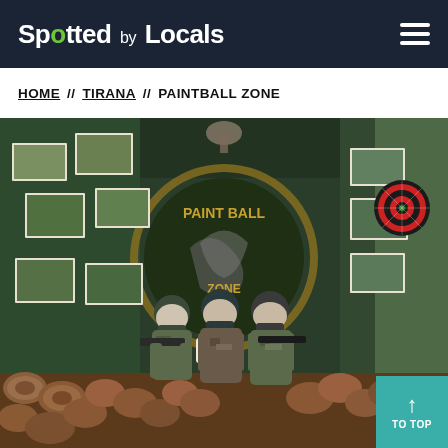Spotted by Locals
HOME // TIRANA // PAINTBALL ZONE
[Figure (photo): Three people in camouflage gear and paintball masks posing in front of a green corrugated metal wall decorated with a large paintball zone graffiti logo and various printed photos. Stacked logs are arranged in front of the wall.]